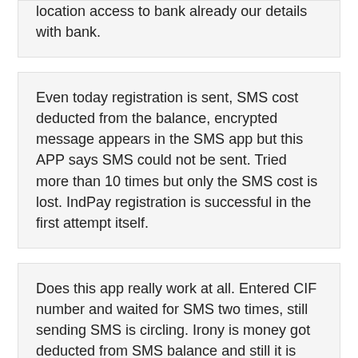location access to bank already our details with bank.
Even today registration is sent, SMS cost deducted from the balance, encrypted message appears in the SMS app but this APP says SMS could not be sent. Tried more than 10 times but only the SMS cost is lost. IndPay registration is successful in the first attempt itself.
Does this app really work at all. Entered CIF number and waited for SMS two times, still sending SMS is circling. Irony is money got deducted from SMS balance and still it is circling. App developer needs some QA team. Work on the basics. Then you can ask people to use the app if it really works.
It is asking for Registration, app says unable to send SMS